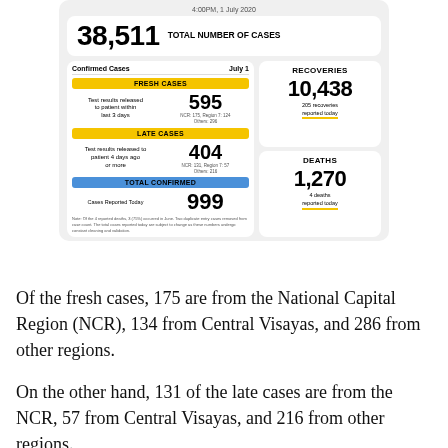[Figure (infographic): Philippine COVID-19 case update infographic dated 4:00PM, 1 July 2020. Shows total 38,511 cases. Fresh cases: 595 (NCR:175, Region 7:124, Others:296). Late cases: 404 (NCR:131, Region 7:57, Others:216). Total confirmed cases reported today: 999. Recoveries: 10,438 (205 recoveries reported today). Deaths: 1,270 (4 deaths reported today).]
Of the fresh cases, 175 are from the National Capital Region (NCR), 134 from Central Visayas, and 286 from other regions.
On the other hand, 131 of the late cases are from the NCR, 57 from Central Visayas, and 216 from other regions.